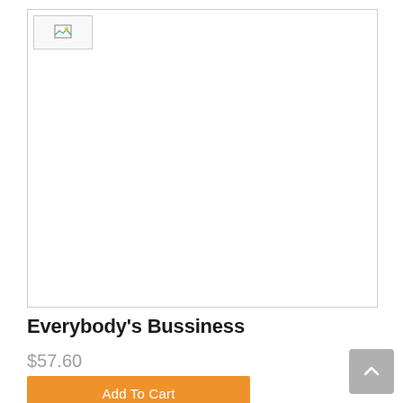[Figure (photo): Product image placeholder (broken image icon) with border]
Everybody's Bussiness
$57.60
Add To Cart